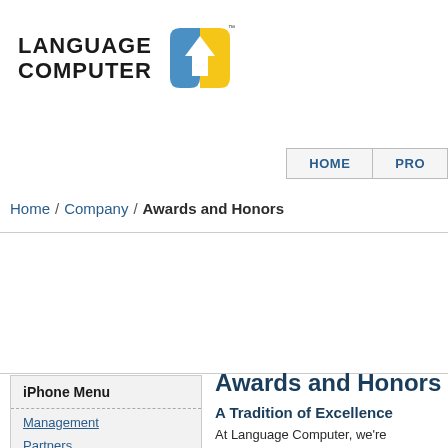[Figure (logo): Language Computer corporation logo with blue and yellow house/arrow icon and bold uppercase text LANGUAGE COMPUTER]
HOME | PRO
Home / Company / Awards and Honors
iPhone Menu
Management
Partners
Awards and Honors
A Tradition of Excellence
At Language Computer, we're convinced any new technology.